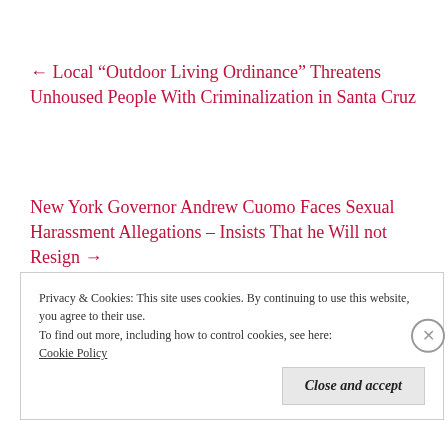← Local “Outdoor Living Ordinance” Threatens Unhoused People With Criminalization in Santa Cruz
New York Governor Andrew Cuomo Faces Sexual Harassment Allegations – Insists That he Will not Resign →
Privacy & Cookies: This site uses cookies. By continuing to use this website, you agree to their use.
To find out more, including how to control cookies, see here:
Cookie Policy